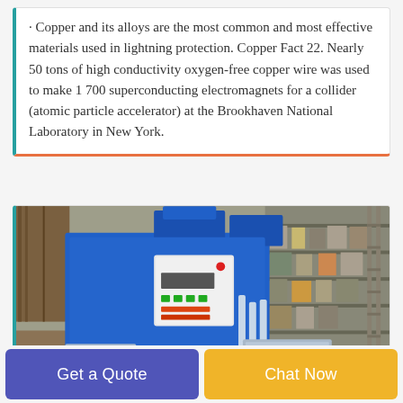· Copper and its alloys are the most common and most effective materials used in lightning protection. Copper Fact 22. Nearly 50 tons of high conductivity oxygen-free copper wire was used to make 1 700 superconducting electromagnets for a collider (atomic particle accelerator) at the Brookhaven National Laboratory in New York.
[Figure (photo): Photograph of a blue industrial copper wire processing machine with a white electrical control panel mounted on it, situated in a workshop with metal shelving in the background.]
Get a Quote
Chat Now